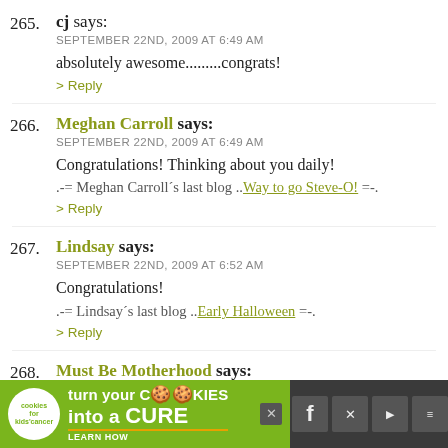265. cj says: SEPTEMBER 22ND, 2009 AT 6:49 AM
absolutely awesome.........congrats!
> Reply
266. Meghan Carroll says: SEPTEMBER 22ND, 2009 AT 6:49 AM
Congratulations! Thinking about you daily!
.-= Meghan Carroll's last blog ..Way to go Steve-O! =-.
> Reply
267. Lindsay says: SEPTEMBER 22ND, 2009 AT 6:52 AM
Congratulations!
.-= Lindsay's last blog ..Early Halloween =-.
> Reply
268. Must Be Motherhood says:
[Figure (infographic): Green advertisement banner for Cookies for Kids Cancer: 'turn your COOKIES into a CURE LEARN HOW' with cookie logo and close button, displayed at bottom of page with dark social media icon bar]